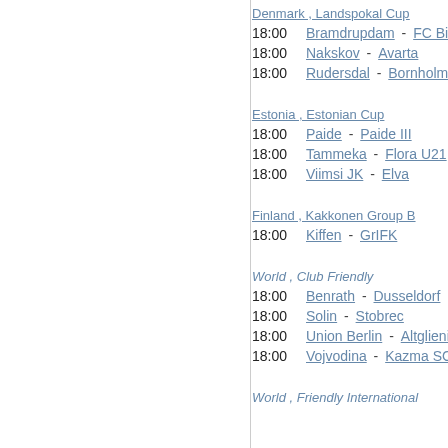Denmark , Landspokal Cup
18:00   Bramdrupdam - FC Bih Ode
18:00   Nakskov - Avarta
18:00   Rudersdal - Bornholm
Estonia , Estonian Cup
18:00   Paide - Paide III
18:00   Tammeka - Flora U21
18:00   Viimsi JK - Elva
Finland , Kakkonen Group B
18:00   Kiffen - GrIFK
World , Club Friendly
18:00   Benrath - Dusseldorf
18:00   Solin - Stobrec
18:00   Union Berlin - Altglienick
18:00   Vojvodina - Kazma SC
World , Friendly International